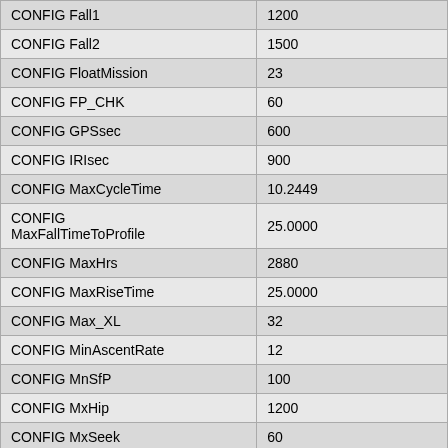| CONFIG Fall1 | 1200 |
| CONFIG Fall2 | 1500 |
| CONFIG FloatMission | 23 |
| CONFIG FP_CHK | 60 |
| CONFIG GPSsec | 600 |
| CONFIG IRIsec | 900 |
| CONFIG MaxCycleTime | 10.2449 |
| CONFIG MaxFallTimeToProfile | 25.0000 |
| CONFIG MaxHrs | 2880 |
| CONFIG MaxRiseTime | 25.0000 |
| CONFIG Max_XL | 32 |
| CONFIG MinAscentRate | 12 |
| CONFIG MnSfP | 100 |
| CONFIG MxHip | 1200 |
| CONFIG MxSeek | 60 |
| CONFIG MxSfP | 600 |
| CONFIG Ndives | 9999 |
| CONFIG Nsam0 | 4 |
| CONFIG Nsam1 | 8 |
| CONFIG Nsam2 | 50 |